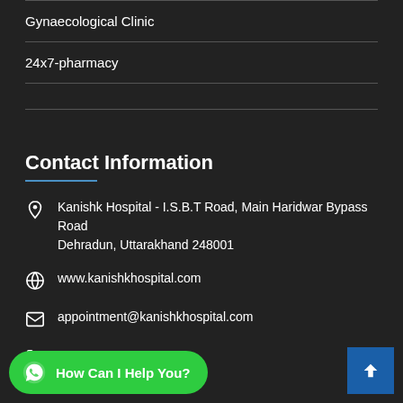Gynaecological Clinic
24x7-pharmacy
Contact Information
Kanishk Hospital - I.S.B.T Road, Main Haridwar Bypass Road Dehradun, Uttarakhand 248001
www.kanishkhospital.com
appointment@kanishkhospital.com
980
How Can I Help You?